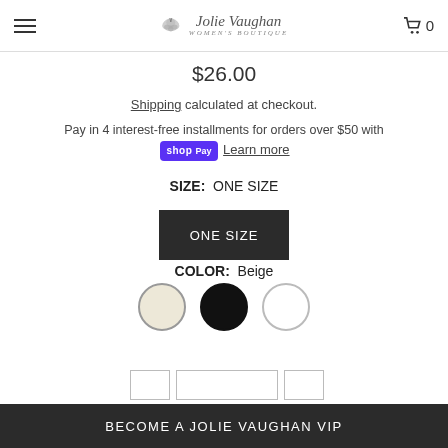Jolie Vaughan Women's Boutique — navigation header
$26.00
Shipping calculated at checkout.
Pay in 4 interest-free installments for orders over $50 with shop Pay  Learn more
SIZE: ONE SIZE
ONE SIZE
COLOR: Beige
[Figure (other): Three color swatches: beige (selected), black, white circles]
BECOME A JOLIE VAUGHAN VIP